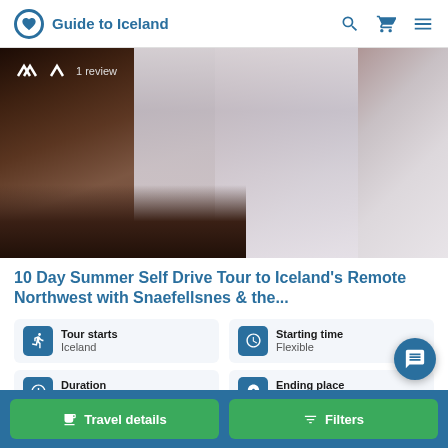Guide to Iceland
[Figure (photo): Waterfall landscape photo showing a large waterfall cascading over rocky cliffs with mist, with star rating and '1 review' overlay]
10 Day Summer Self Drive Tour to Iceland's Remote Northwest with Snaefellsnes & the...
Tour starts: Iceland
Starting time: Flexible
Duration: 10 days
Ending place: Iceland
Travel details | Filters